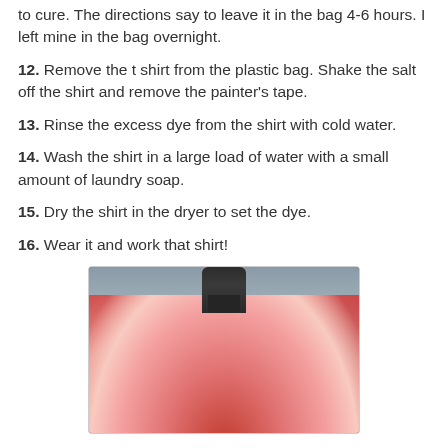to cure. The directions say to leave it in the bag 4-6 hours. I left mine in the bag overnight.
12. Remove the t shirt from the plastic bag. Shake the salt off the shirt and remove the painter's tape.
13. Rinse the excess dye from the shirt with cold water.
14. Wash the shirt in a large load of water with a small amount of laundry soap.
15. Dry the shirt in the dryer to set the dye.
16. Wear it and work that shirt!
[Figure (photo): A pink tie-dye t-shirt displayed on a dark mannequin bust against a grey siding background.]